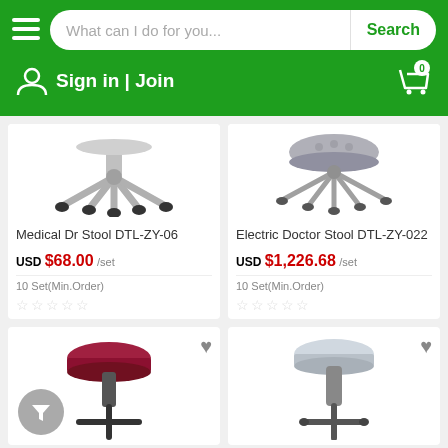What can I do for you... Search | Sign in | Join
[Figure (screenshot): Medical Dr Stool DTL-ZY-06 product image showing stool base with wheels]
Medical Dr Stool DTL-ZY-06
USD $68.00 /set
10 Set(Min.Order)
[Figure (screenshot): Electric Doctor Stool DTL-ZY-022 product image showing stool top with wheels]
Electric Doctor Stool DTL-ZY-022
USD $1,226.68 /set
10 Set(Min.Order)
[Figure (photo): Round red stool with adjustable height leg]
[Figure (photo): Round light blue/white stool with adjustable height leg]